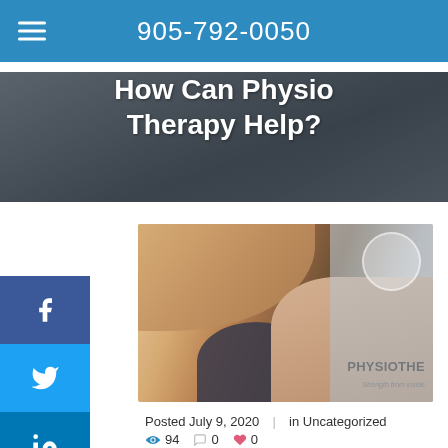905-792-0050
How Can Physio Therapy Help?
[Figure (photo): Physiotherapist massaging a patient's leg/knee area, with PHYSIOTHE branding and 'Strength from Inside' text visible]
Posted July 9, 2020 | in Uncategorized
👁 94  💬 0  ❤ 0